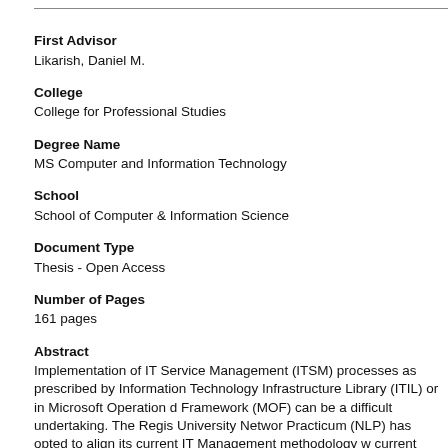First Advisor
Likarish, Daniel M.
College
College for Professional Studies
Degree Name
MS Computer and Information Technology
School
School of Computer & Information Science
Document Type
Thesis - Open Access
Number of Pages
161 pages
Abstract
Implementation of IT Service Management (ITSM) processes as prescribed by Information Technology Infrastructure Library (ITIL) or in Microsoft Operation d Framework (MOF) can be a difficult undertaking. The Regis University Networ Practicum (NLP) has opted to align its current IT Management methodology w current best practices employed by other organizations. An initial analysis in th an executive overview was conducted in order to substantiate the benefits of b